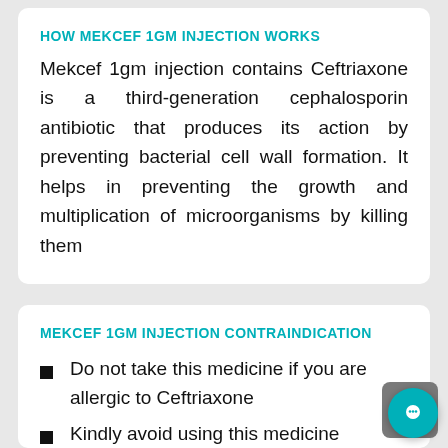HOW MEKCEF 1GM INJECTION WORKS
Mekcef 1gm injection contains Ceftriaxone is a third-generation cephalosporin antibiotic that produces its action by preventing bacterial cell wall formation. It helps in preventing the growth and multiplication of microorganisms by killing them
MEKCEF 1GM INJECTION CONTRAINDICATION
Do not take this medicine if you are allergic to Ceftriaxone
Kindly avoid using this medicine